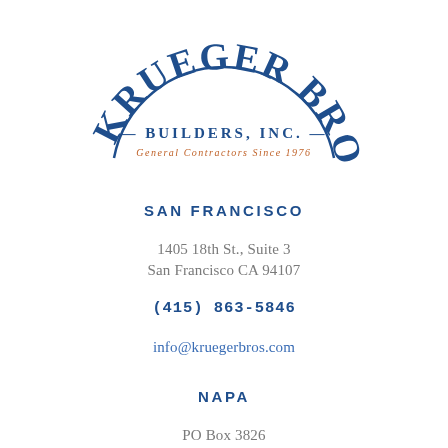[Figure (logo): Krueger Bros Builders Inc logo — arched text reading KRUEGER BROS in large dark navy serif letters, below it BUILDERS, INC. in navy with orange dashes on each side, and below that General Contractors Since 1976 in orange small caps]
SAN FRANCISCO
1405 18th St., Suite 3
San Francisco CA 94107
(415) 863-5846
info@kruegerbros.com
NAPA
PO Box 3826